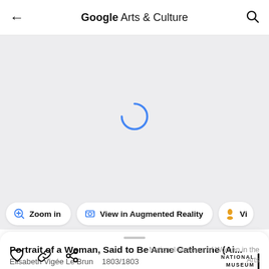Google Arts & Culture
[Figure (screenshot): Loading spinner (blue arc) on light gray background representing an artwork image area that is loading]
Zoom in | View in Augmented Reality | View...
Portrait of a Woman, Said to Be Anne Catherine (Ai...
Élisabeth Vigée Le Brun   1803/1803
[Figure (logo): National Museum of Women in the Arts logo — stacked text with vertical bar accent]
National Museum of Women in the Arts